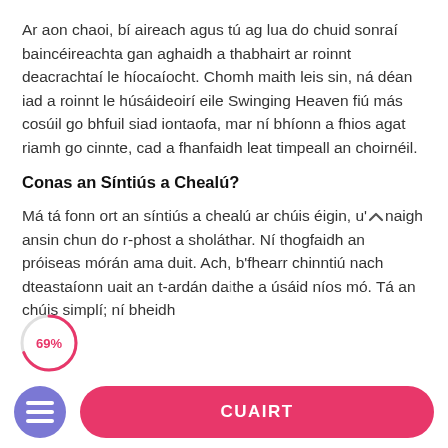Ar aon chaoi, bí aireach agus tú ag lua do chuid sonraí baincéireachta gan aghaidh a thabhairt ar roinnt deacrachtaí le híocaíocht. Chomh maith leis sin, ná déan iad a roinnt le húsáideoirí eile Swinging Heaven fiú más cosúil go bhfuil siad iontaofa, mar ní bhíonn a fhios agat riamh go cinnte, cad a fhanfaidh leat timpeall an choirnéil.
Conas an Síntiús a Chealú?
Má tá fonn ort an síntiús a chealú ar chúis éigin, u'naigh ansin chun do r-phost a sholáthar. Ní thogfaidh an próiseas mórán ama duit. Ach, b'fhearr chinntiú nach dteastaíonn uait an t-ardán daithe a úsáid níos mó. Tá an chúis simplí; ní bheidh
[Figure (infographic): Circular progress indicator showing 69%]